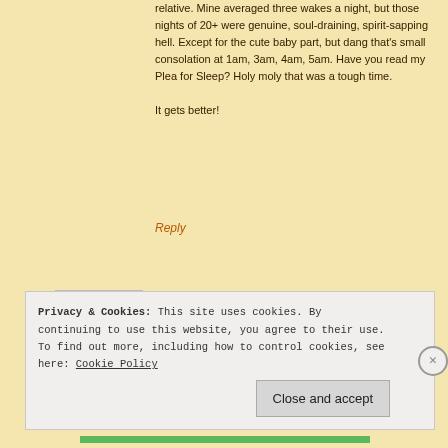relative. Mine averaged three wakes a night, but those nights of 20+ were genuine, soul-draining, spirit-sapping hell. Except for the cute baby part, but dang that's small consolation at 1am, 3am, 4am, 5am. Have you read my Plea for Sleep? Holy moly that was a tough time.

It gets better!
Reply
[Figure (photo): Avatar photo of Stacie, a woman with blonde hair, illustrated/cartoon style]
Stacie says:
8 March 2014 at 1:49 pm
Yay! Also? I love Jimmy Fallon–even more so after his Chris Christie traffic jam parody with Bruce Springsteen.
Privacy & Cookies: This site uses cookies. By continuing to use this website, you agree to their use.
To find out more, including how to control cookies, see here: Cookie Policy
Close and accept